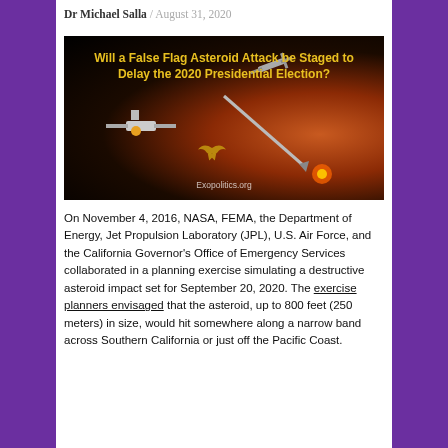Dr Michael Salla / August 31, 2020
[Figure (illustration): Space illustration showing spacecraft and asteroid impact near Earth, with text overlay: 'Will a False Flag Asteroid Attack be Staged to Delay the 2020 Presidential Election?' Watermark: Exopolitics.org]
On November 4, 2016, NASA, FEMA, the Department of Energy, Jet Propulsion Laboratory (JPL), U.S. Air Force, and the California Governor's Office of Emergency Services collaborated in a planning exercise simulating a destructive asteroid impact set for September 20, 2020. The exercise planners envisaged that the asteroid, up to 800 feet (250 meters) in size, would hit somewhere along a narrow band across Southern California or just off the Pacific Coast.